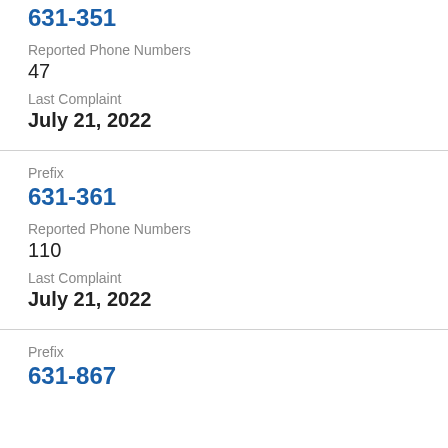631-351
Reported Phone Numbers
47
Last Complaint
July 21, 2022
Prefix
631-361
Reported Phone Numbers
110
Last Complaint
July 21, 2022
Prefix
631-867